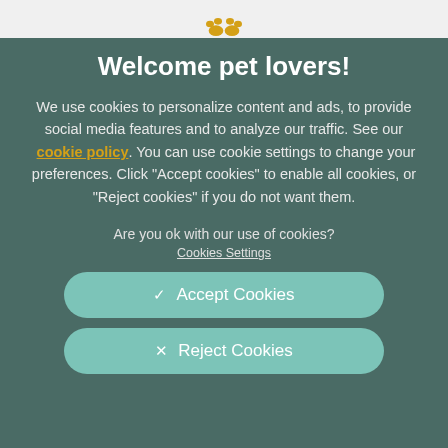Welcome pet lovers!
We use cookies to personalize content and ads, to provide social media features and to analyze our traffic. See our cookie policy. You can use cookie settings to change your preferences. Click "Accept cookies" to enable all cookies, or "Reject cookies" if you do not want them.
Are you ok with our use of cookies?
Cookies Settings
✓  Accept Cookies
✕  Reject Cookies